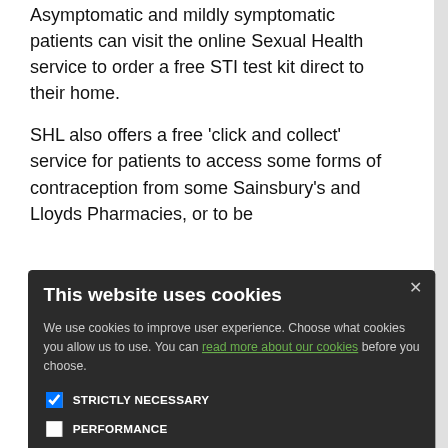Asymptomatic and mildly symptomatic patients can visit the online Sexual Health service to order a free STI test kit direct to their home.
SHL also offers a free 'click and collect' service for patients to access some forms of contraception from some Sainsbury's and Lloyds Pharmacies, or to be
aflet below.
[Figure (screenshot): Cookie consent modal dialog with dark background. Title: 'This website uses cookies'. Body text: 'We use cookies to improve user experience. Choose what cookies you allow us to use. You can read more about our cookies before you choose.' Checkboxes for: STRICTLY NECESSARY (checked), PERFORMANCE, TARGETING, FUNCTIONALITY. Two buttons: ACCEPT ALL (green) and DECLINE ALL (outline).]
tients the service is ent of recently
occurring medical eye conditions.